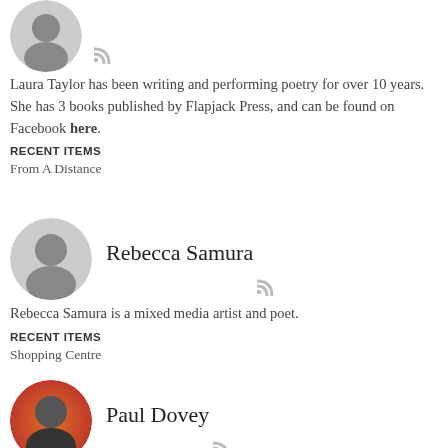[Figure (photo): Circular avatar photo of Laura Taylor (grayscale), with RSS icon below]
Laura Taylor has been writing and performing poetry for over 10 years. She has 3 books published by Flapjack Press, and can be found on Facebook here.
RECENT ITEMS
From A Distance
[Figure (photo): Circular avatar photo of Rebecca Samura (grayscale), with RSS icon below]
Rebecca Samura
Rebecca Samura is a mixed media artist and poet.
RECENT ITEMS
Shopping Centre
[Figure (photo): Circular avatar photo of Paul Dovey (color), with RSS icon below]
Paul Dovey